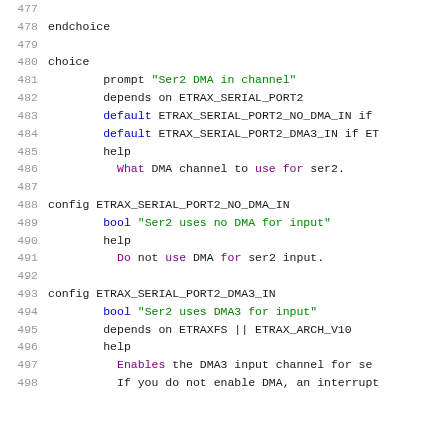477
478  endchoice
479
480  choice
481        prompt "Ser2 DMA in channel"
482        depends on ETRAX_SERIAL_PORT2
483        default ETRAX_SERIAL_PORT2_NO_DMA_IN if
484        default ETRAX_SERIAL_PORT2_DMA3_IN if ET
485        help
486          What DMA channel to use for ser2.
487
488  config ETRAX_SERIAL_PORT2_NO_DMA_IN
489        bool "Ser2 uses no DMA for input"
490        help
491          Do not use DMA for ser2 input.
492
493  config ETRAX_SERIAL_PORT2_DMA3_IN
494        bool "Ser2 uses DMA3 for input"
495        depends on ETRAXFS || ETRAX_ARCH_V10
496        help
497          Enables the DMA3 input channel for se
498          If you do not enable DMA, an interrupt